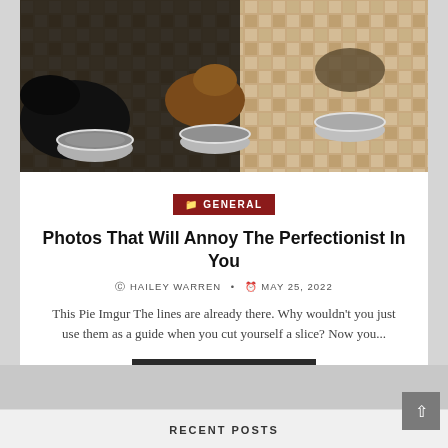[Figure (photo): Dogs eating from silver metal bowls on a patterned tile floor, viewed from above]
GENERAL
Photos That Will Annoy The Perfectionist In You
HAILEY WARREN • MAY 25, 2022
This Pie Imgur The lines are already there. Why wouldn't you just use them as a guide when you cut yourself a slice? Now you...
CONTINUE READING ▶
← Newer posts  1  2  3  4  ...  9  Older posts →
RECENT POSTS